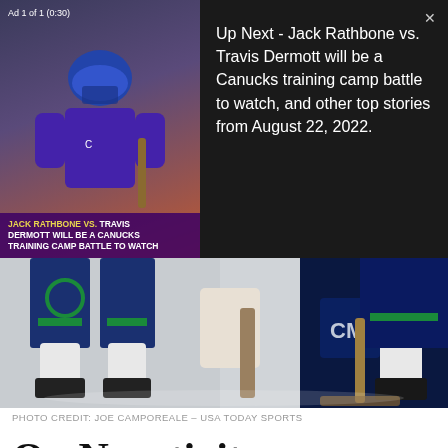[Figure (screenshot): Video ad overlay showing hockey player with purple/orange background. Text overlay reads: JACK RATHBONE VS. TRAVIS DERMOTT WILL BE A CANUCKS TRAINING CAMP BATTLE TO WATCH]
Up Next - Jack Rathbone vs. Travis Dermott will be a Canucks training camp battle to watch, and other top stories from August 22, 2022.
[Figure (photo): Close-up photo of hockey players' skates and lower legs on ice, showing Canucks uniforms with blue, green and white colors]
PHOTO CREDIT: JOE CAMPOREALE – USA TODAY SPORTS
On Negativity
MARCH 1, 2018, 8:00 AM | JACKSON MCDONALD
Listen: Elliotte Friedman made some comments about the Vancouver hockey market, and it made a lot of people very upset. (If you've somehow missed it. you can listen here.)